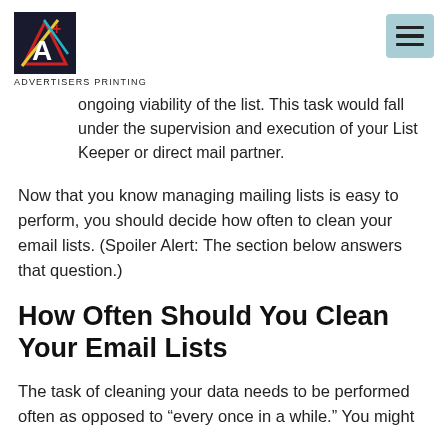ADVERTISERS PRINTING
ongoing viability of the list. This task would fall under the supervision and execution of your List Keeper or direct mail partner.
Now that you know managing mailing lists is easy to perform, you should decide how often to clean your email lists. (Spoiler Alert: The section below answers that question.)
How Often Should You Clean Your Email Lists
The task of cleaning your data needs to be performed often as opposed to “every once in a while.” You might